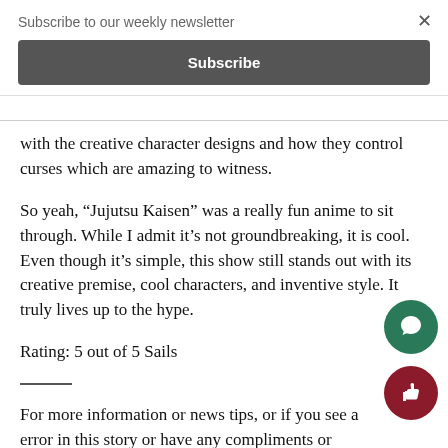Subscribe to our weekly newsletter
Subscribe
with the creative character designs and how they control curses which are amazing to witness.
So yeah, “Jujutsu Kaisen” was a really fun anime to sit through. While I admit it’s not groundbreaking, it is cool. Even though it’s simple, this show still stands out with its creative premise, cool characters, and inventive style. It truly lives up to the hype.
Rating: 5 out of 5 Sails
For more information or news tips, or if you see a error in this story or have any compliments or